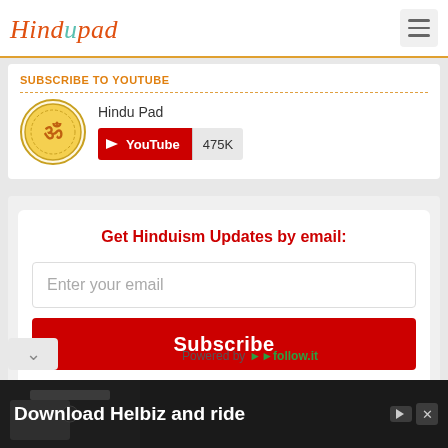Hindupad
SUBSCRIBE TO YOUTUBE
Hindu Pad
[Figure (logo): YouTube subscribe button showing 475K subscribers]
Get Hinduism Updates by email:
Enter your email
Subscribe
Powered by followit
[Figure (photo): Bottom advertisement banner: Download Helbiz and ride]
Download Helbiz and ride